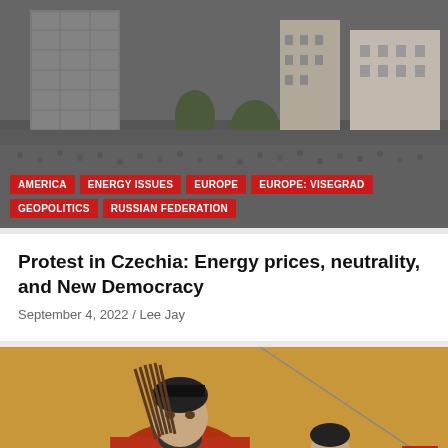[Figure (photo): Aerial view of a large crowd protest in a city center with modern and historic buildings visible]
AMERICA
ENERGY ISSUES
EUROPE
EUROPE: VISEGRAD
GEOPOLITICS
RUSSIAN FEDERATION
Protest in Czechia: Energy prices, neutrality, and New Democracy
September 4, 2022 / Lee Jay
[Figure (illustration): Historical Japanese illustration of a warrior figure in traditional orange/red robes holding arrows, with another figure partially visible]